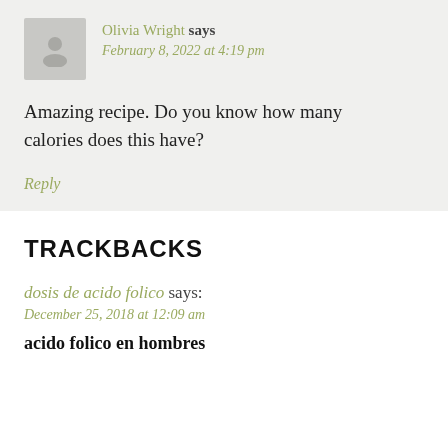Olivia Wright says February 8, 2022 at 4:19 pm
Amazing recipe. Do you know how many calories does this have?
Reply
TRACKBACKS
dosis de acido folico says: December 25, 2018 at 12:09 am
acido folico en hombres